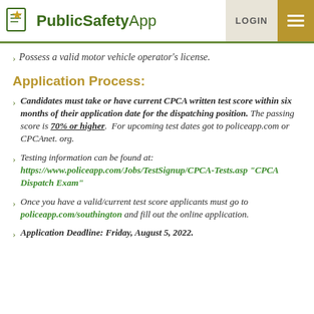PublicSafetyApp | LOGIN
Possess a valid motor vehicle operator's license.
Application Process:
Candidates must take or have current CPCA written test score within six months of their application date for the dispatching position. The passing score is 70% or higher. For upcoming test dates got to policeapp.com or CPCAnet. org.
Testing information can be found at: https://www.policeapp.com/Jobs/TestSignup/CPCA-Tests.asp "CPCA Dispatch Exam"
Once you have a valid/current test score applicants must go to policeapp.com/southington and fill out the online application.
Application Deadline: Friday, August 5, 2022.